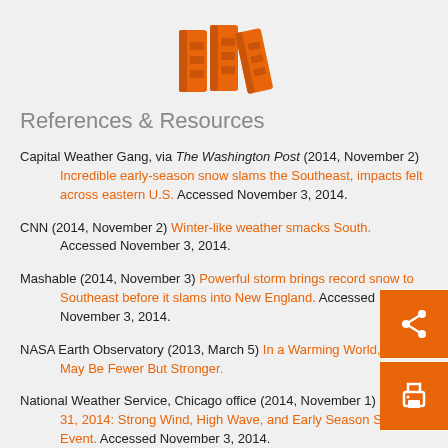[Figure (illustration): Orange book/binder icons representing references and resources]
References & Resources
Capital Weather Gang, via The Washington Post (2014, November 2) Incredible early-season snow slams the Southeast, impacts felt across eastern U.S. Accessed November 3, 2014.
CNN (2014, November 2) Winter-like weather smacks South. Accessed November 3, 2014.
Mashable (2014, November 3) Powerful storm brings record snow to Southeast before it slams into New England. Accessed November 3, 2014.
NASA Earth Observatory (2013, March 5) In a Warming World, Storms May Be Fewer But Stronger.
National Weather Service, Chicago office (2014, November 1) October 31, 2014: Strong Wind, High Wave, and Early Season Snow Event. Accessed November 3, 2014.